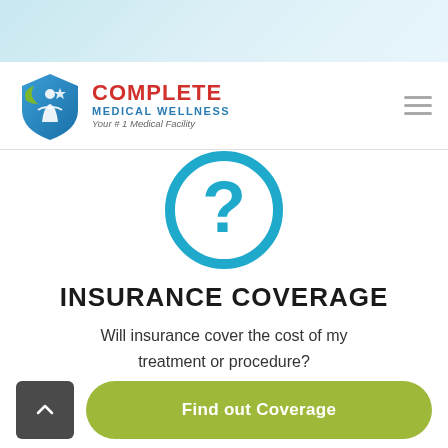[Figure (logo): Complete Medical Wellness logo with shield icon featuring a person figure, green checkmark, and blue background. Text reads COMPLETE MEDICAL WELLNESS Your #1 Medical Facility]
[Figure (illustration): Teal/blue circular question mark icon]
INSURANCE COVERAGE
Will insurance cover the cost of my treatment or procedure?
Find out Coverage